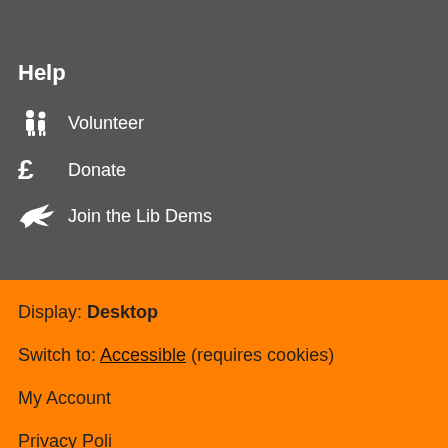Help
Volunteer
Donate
Join the Lib Dems
Display: Desktop
Switch to: Accessible (requires cookies)
My Account
Privacy Policy